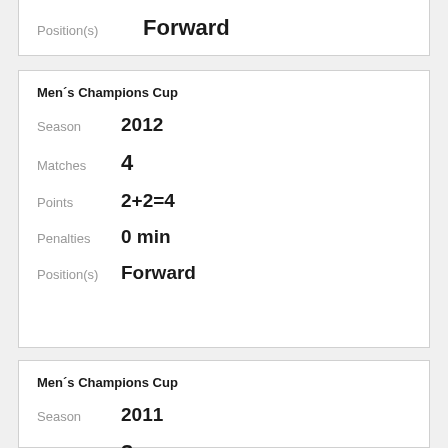Position(s)  Forward
Men's Champions Cup
Season  2012
Matches  4
Points  2+2=4
Penalties  0 min
Position(s)  Forward
Men's Champions Cup
Season  2011
Matches  3
Points  3+4=7